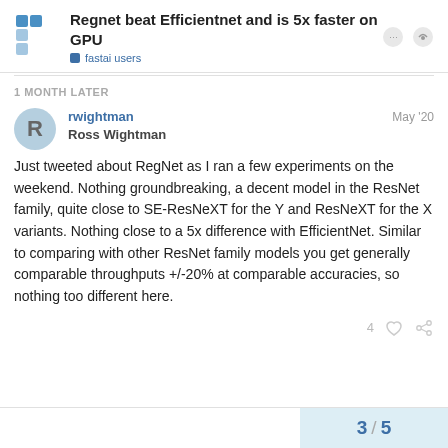Regnet beat Efficientnet and is 5x faster on GPU | fastai users
1 MONTH LATER
rwightman
Ross Wightman
May '20
Just tweeted about RegNet as I ran a few experiments on the weekend. Nothing groundbreaking, a decent model in the ResNet family, quite close to SE-ResNeXT for the Y and ResNeXT for the X variants. Nothing close to a 5x difference with EfficientNet. Similar to comparing with other ResNet family models you get generally comparable throughputs +/-20% at comparable accuracies, so nothing too different here.
3 / 5